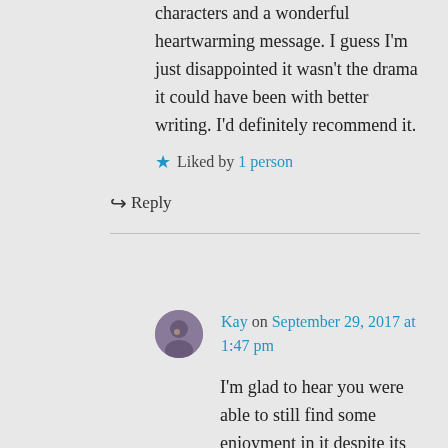characters and a wonderful heartwarming message. I guess I'm just disappointed it wasn't the drama it could have been with better writing. I'd definitely recommend it.
★ Liked by 1 person
↪ Reply
Kay on September 29, 2017 at 1:47 pm
I'm glad to hear you were able to still find some enjoyment in it despite its